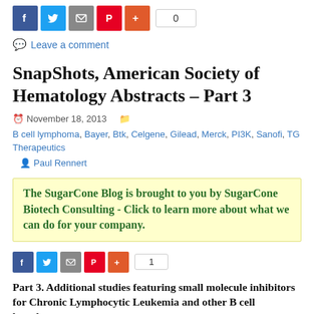[Figure (other): Social share buttons row (Facebook, Twitter, Email, Pinterest, Plus) with share count of 0]
Leave a comment
SnapShots, American Society of Hematology Abstracts – Part 3
November 18, 2013  B cell lymphoma, Bayer, Btk, Celgene, Gilead, Merck, PI3K, Sanofi, TG Therapeutics  Paul Rennert
The SugarCone Blog is brought to you by SugarCone Biotech Consulting - Click to learn more about what we can do for your company.
[Figure (other): Social share buttons row (Facebook, Twitter, Email, Pinterest, Plus) with share count of 1]
Part 3. Additional studies featuring small molecule inhibitors for Chronic Lymphocytic Leukemia and other B cell lymphomas.